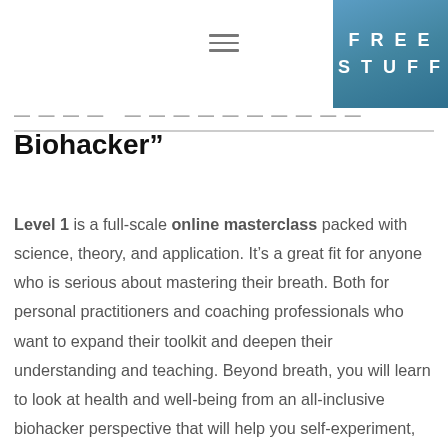FREE STUFF
Biohacker”
Level 1 is a full-scale online masterclass packed with science, theory, and application. It’s a great fit for anyone who is serious about mastering their breath. Both for personal practitioners and coaching professionals who want to expand their toolkit and deepen their understanding and teaching. Beyond breath, you will learn to look at health and well-being from an all-inclusive biohacker perspective that will help you self-experiment, self-actualize and self-quantify real life results. Not only is this a powerful stand-alone course, it’s also the prerequisite for joining our Level 2 course.